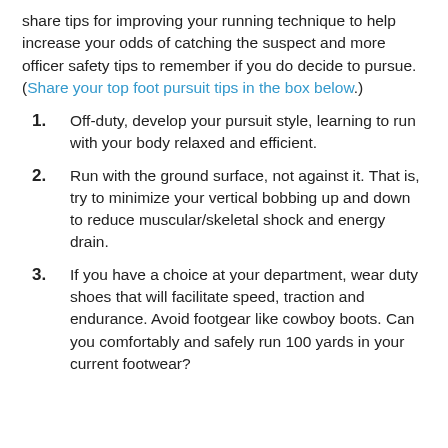share tips for improving your running technique to help increase your odds of catching the suspect and more officer safety tips to remember if you do decide to pursue. (Share your top foot pursuit tips in the box below.)
Off-duty, develop your pursuit style, learning to run with your body relaxed and efficient.
Run with the ground surface, not against it. That is, try to minimize your vertical bobbing up and down to reduce muscular/skeletal shock and energy drain.
If you have a choice at your department, wear duty shoes that will facilitate speed, traction and endurance. Avoid footgear like cowboy boots. Can you comfortably and safely run 100 yards in your current footwear?